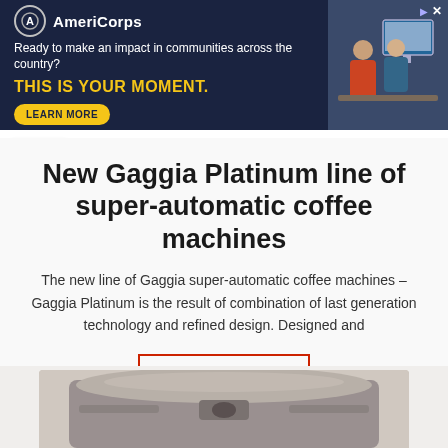[Figure (screenshot): AmeriCorps advertisement banner with dark navy background. Logo with circle 'A', tagline 'Ready to make an impact in communities across the country?', yellow bold text 'THIS IS YOUR MOMENT.', yellow 'LEARN MORE' button, and photo of people on right side.]
New Gaggia Platinum line of super-automatic coffee machines
The new line of Gaggia super-automatic coffee machines – Gaggia Platinum is the result of combination of last generation technology and refined design. Designed and
READ MORE
[Figure (photo): Partial view of a Gaggia Platinum super-automatic coffee machine in silver/metallic color, showing the top portion of the machine against a light background.]